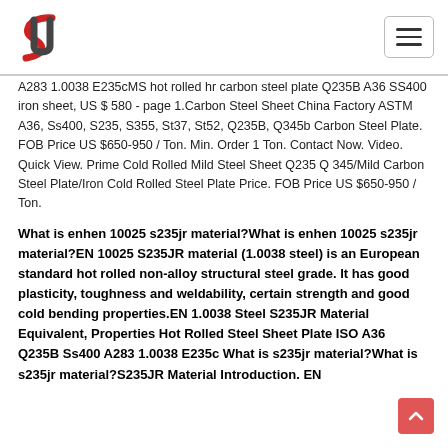A283 1.0038 E235cMS hot rolled hr carbon steel plate Q235B A36 SS400 iron sheet, US $ 580 - page 1.Carbon Steel Sheet China Factory ASTM A36, Ss400, S235, S355, St37, St52, Q235B, Q345b Carbon Steel Plate. FOB Price US $650-950 / Ton. Min. Order 1 Ton. Contact Now. Video. Quick View. Prime Cold Rolled Mild Steel Sheet Q235 Q 345/Mild Carbon Steel Plate/Iron Cold Rolled Steel Plate Price. FOB Price US $650-950 / Ton.
What is enhen 10025 s235jr material?What is enhen 10025 s235jr material?EN 10025 S235JR material (1.0038 steel) is an European standard hot rolled non-alloy structural steel grade. It has good plasticity, toughness and weldability, certain strength and good cold bending properties.EN 1.0038 Steel S235JR Material Equivalent, Properties Hot Rolled Steel Sheet Plate ISO A36 Q235B Ss400 A283 1.0038 E235c What is s235jr material?What is s235jr material?S235JR Material Introduction. EN